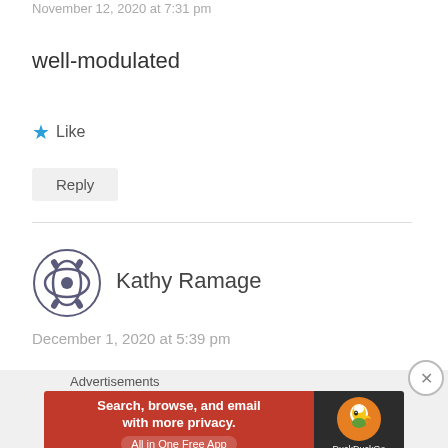November 12, 2020 at 7:31 pm
well-modulated
★ Like
Reply
[Figure (illustration): Avatar icon for Kathy Ramage — decorative globe/flower symbol in dark gray]
Kathy Ramage
December 1, 2020 at 5:39 pm
Advertisements
[Figure (screenshot): DuckDuckGo advertisement banner: orange-red left side with text 'Search, browse, and email with more privacy. All in One Free App', dark right side with DuckDuckGo logo]